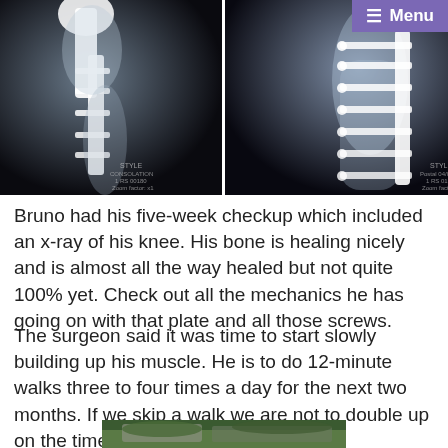[Figure (photo): Two side-by-side x-ray images of a knee/leg showing a metal orthopedic plate with screws on the right side and a hip implant on the left side. The x-rays show bone healing with surgical hardware in place.]
Bruno had his five-week checkup which included an x-ray of his knee. His bone is healing nicely and is almost all the way healed but not quite 100% yet. Check out all the mechanics he has going on with that plate and all those screws.
The surgeon said it was time to start slowly building up his muscle. He is to do 12-minute walks three to four times a day for the next two months. If we skip a walk we are not to double up on the time. The walks must be short.
[Figure (photo): Partial view of a car or outdoor scene visible at the very bottom of the page.]